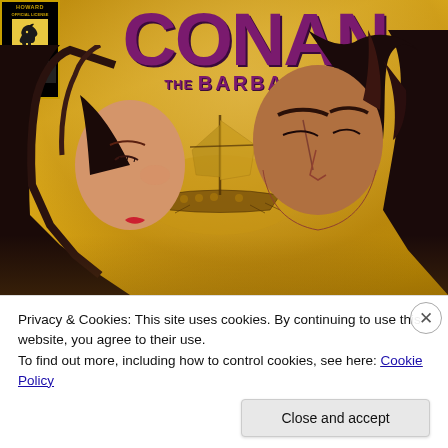[Figure (illustration): Comic book cover of Conan the Barbarian #6 by Dark Horse Comics. Golden/amber smoky background with a Viking ship visible in the middle distance. Two figures with dark hair face each other in the foreground — a woman on the left and Conan on the right. The Dark Horse Comics official license badge with a horse icon and issue number #6 appears in the top-left corner. The title 'CONAN the BARBARIAN' is displayed in large purple lettering across the top.]
Privacy & Cookies: This site uses cookies. By continuing to use this website, you agree to their use.
To find out more, including how to control cookies, see here: Cookie Policy
Close and accept